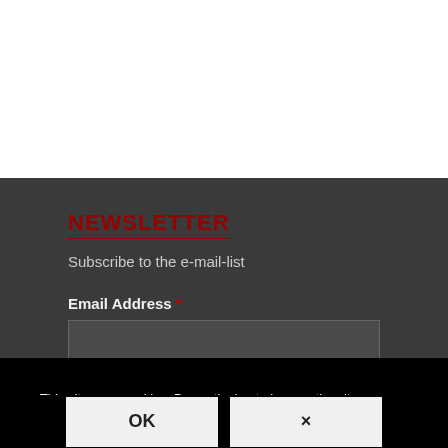NEWSLETTER
Subscribe to the e-mail-list
Email Address *
Sign up
This site uses cookies. By continuing to browse the site, you are agreeing to our use of cookies.
OK
×